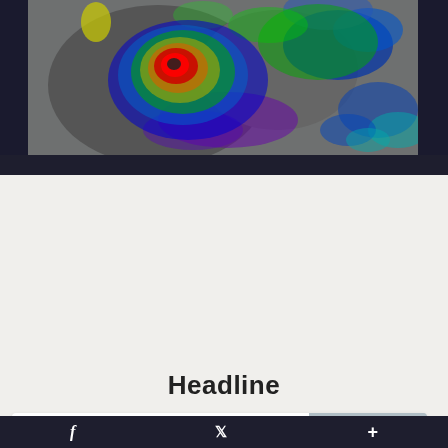[Figure (photo): Satellite infrared image of a hurricane showing a clearly defined eye with red/orange colors at center, surrounded by green and blue spiral bands on a gray background]
Headline
Aug 27, 2019 | CNN
4 employees to face charges in Florida nursing home deaths after Hurricane Irma, lawyer says
[Figure (photo): Photo of a Rehabilitation Center sign on a building with yellow caution tape visible]
f  Twitter bird icon  +